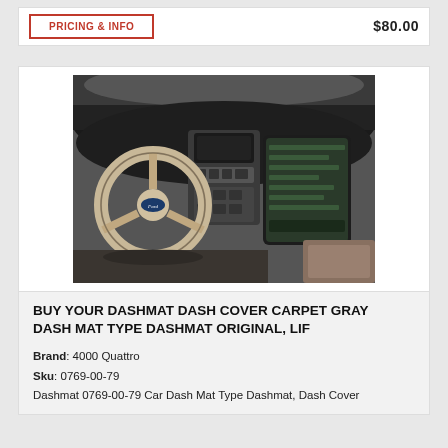PRICING & INFO | $80.00
[Figure (photo): Interior dashboard photo of a vehicle showing steering wheel, center console, and dark dash mat cover installed on the dashboard]
BUY YOUR DASHMAT DASH COVER CARPET GRAY DASH MAT TYPE DASHMAT ORIGINAL, LIF
Brand: 4000 Quattro
Sku: 0769-00-79
Dashmat 0769-00-79 Car Dash Mat Type Dashmat, Dash Cover